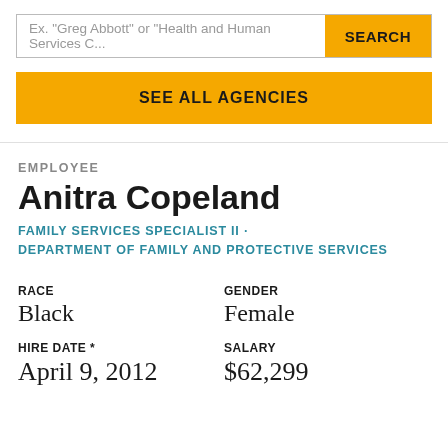Ex. "Greg Abbott" or "Health and Human Services C...
SEARCH
SEE ALL AGENCIES
EMPLOYEE
Anitra Copeland
FAMILY SERVICES SPECIALIST II · DEPARTMENT OF FAMILY AND PROTECTIVE SERVICES
RACE
Black
GENDER
Female
HIRE DATE *
April 9, 2012
SALARY
$62,299